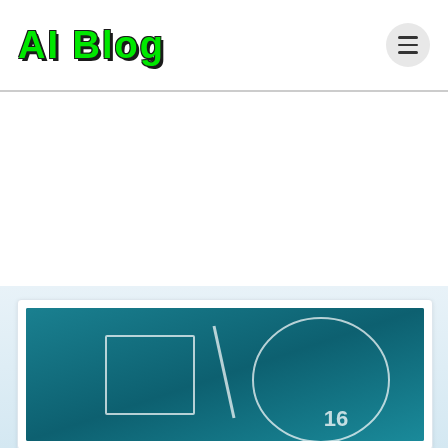AI Blog
[Figure (screenshot): Google I/O logo on a teal/dark blue gradient background, showing I/O lettering with geometric outline shapes]
[Figure (logo): AI Blog logo in bold green text with dark shadow effect]